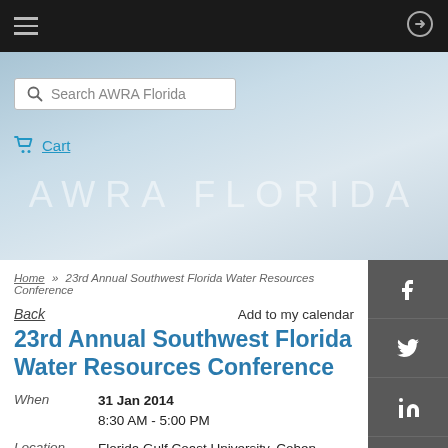AWRA Florida — top navigation bar with hamburger menu and login icon
[Figure (screenshot): Hero banner with search box 'Search AWRA Florida', Cart link, and 'AWRA FLORIDA' watermark text on light blue gradient background]
Home » 23rd Annual Southwest Florida Water Resources Conference
Back    Add to my calendar
23rd Annual Southwest Florida Water Resources Conference
When  31 Jan 2014  8:30 AM - 5:00 PM
Location  Florida Gulf Coast University, Cohen Center, Fort